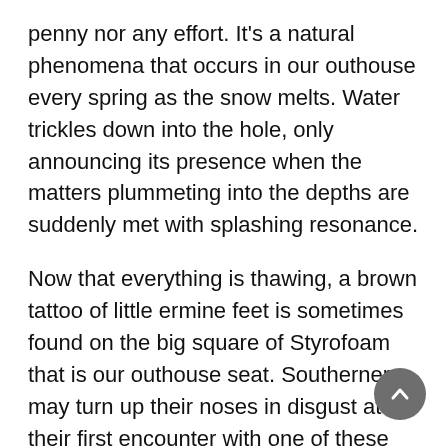penny nor any effort. It's a natural phenomena that occurs in our outhouse every spring as the snow melts. Water trickles down into the hole, only announcing its presence when the matters plummeting into the depths are suddenly met with splashing resonance.
Now that everything is thawing, a brown tattoo of little ermine feet is sometimes found on the big square of Styrofoam that is our outhouse seat. Southerners may turn up their noses in disgust at their first encounter with one of these grimy-looking foam pads that even when antiseptically clean tend to have a slightly chewed-up appearance. Of course, if they had ever had the misfortune to lower their bared tender parts on to a plastic seat in the wintertime, they would understand the beauty of pink and blue Styrofoam.